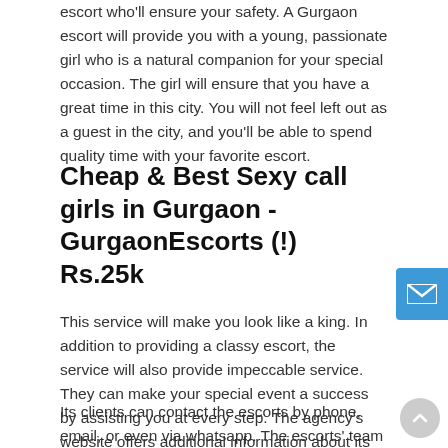escort who'll ensure your safety. A Gurgaon escort will provide you with a young, passionate girl who is a natural companion for your special occasion. The girl will ensure that you have a great time in this city. You will not feel left out as a guest in the city, and you'll be able to spend quality time with your favorite escort.
Cheap & Best Sexy call girls in Gurgaon -GurgaonEscorts (!) Rs.25k
This service will make you look like a king. In addition to providing a classy escort, the service will also provide impeccable service. They can make your special event a success by assisting you at every step. The agency's website offers additional information about its clients and the services they offer.
Its clients can contact the escorts by phone, email, or even via whatsapp. The escorts' team will be happy to help you arrange your special event or party. With the help of a professional